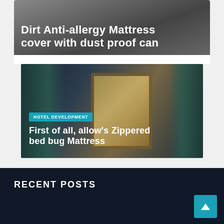[Figure (photo): Partial top image with overlay text 'Dirt Anti-allergy Mattress cover with dust proof can' on dark background]
[Figure (photo): Hotel room image with curtains and window, overlaid with 'HOTEL DEVELOPMENT' tag and title 'First of all, allow's Zippered bed bug Mattress']
RECENT POSTS